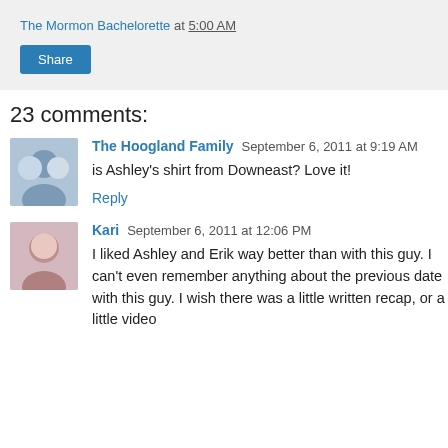The Mormon Bachelorette at 5:00 AM
Share
23 comments:
The Hoogland Family September 6, 2011 at 9:19 AM
is Ashley's shirt from Downeast? Love it!
Reply
Kari September 6, 2011 at 12:06 PM
I liked Ashley and Erik way better than with this guy. I can't even remember anything about the previous date with this guy. I wish there was a little written recap, or a little video